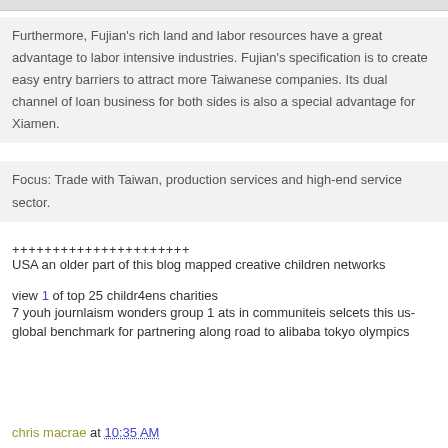Furthermore, Fujian's rich land and labor resources have a great advantage to labor intensive industries. Fujian's specification is to create easy entry barriers to attract more Taiwanese companies. Its dual channel of loan business for both sides is also a special advantage for Xiamen.
Focus: Trade with Taiwan, production services and high-end service sector.
++++++++++++++++++++++
USA an older part of this blog mapped creative children networks
view 1 of top 25 childr4ens charities
7 youh journlaism wonders group 1 ats in communiteis selcets this us-global benchmark for partnering along road to alibaba tokyo olympics
chris macrae at 10:35 AM